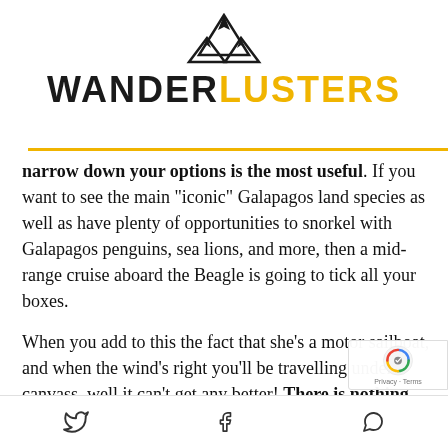[Figure (logo): WanderLusters logo with mountain peak icon above text. 'WANDER' in dark/black and 'LUSTERS' in gold/yellow, all caps, bold sans-serif font.]
narrow down your options is the most useful. If you want to see the main "iconic" Galapagos land species as well as have plenty of opportunities to snorkel with Galapagos penguins, sea lions, and more, then a mid-range cruise aboard the Beagle is going to tick all your boxes.

When you add to this the fact that she's a motor sailboat, and when the wind's right you'll be travelling under canvass, well it can't get any better! There is nothing better than sitting on the bow of a rigged sailb…
[Twitter icon] [Facebook icon] [WhatsApp icon]